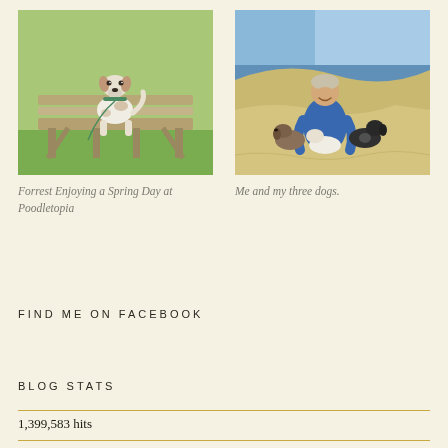[Figure (photo): A small dog (Jack Russell terrier) sitting on a wooden bench on a grassy lawn.]
Forrest Enjoying a Spring Day at Poodletopia
[Figure (photo): A person sitting on a sandy beach with three dogs.]
Me and my three dogs.
FIND ME ON FACEBOOK
BLOG STATS
1,399,583 hits